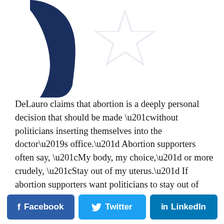[Figure (logo): Partial logo showing a dark navy blue ribbon/check shape on the left and a white five-pointed star on the right, cropped at the top of the page.]
DeLauro claims that abortion is a deeply personal decision that should be made “without politicians inserting themselves into the doctor’s office.” Abortion supporters often say, “My body, my choice,” or more crudely, “Stay out of my uterus.” If abortion supporters want politicians to stay out of their decision, then don’t use taxpayer funds to pay for a
[Figure (infographic): Social sharing buttons row: Facebook (dark blue), Twitter (light blue), LinkedIn (dark teal-blue)]